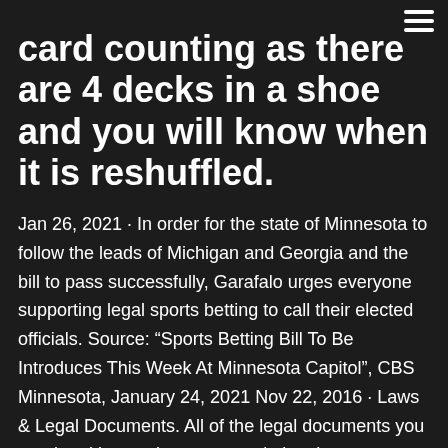card counting as there are 4 decks in a shoe and you will know when it is reshuffled.
Jan 26, 2021 · In order for the state of Minnesota to follow the leads of Michigan and Georgia and the bill to pass successfully, Garafalo urges everyone supporting legal sports betting to call their elected officials. Source: “Sports Betting Bill To Be Introduces This Week At Minnesota Capitol”, CBS Minnesota, January 24, 2021 Nov 22, 2016 · Laws & Legal Documents. All of the legal documents you need and instructions on completing them are available on this site. Useful Tools. Like any other business, starting a dispensary is going to require an initial investment in tools. Gathering Your Supply. We provide information on where